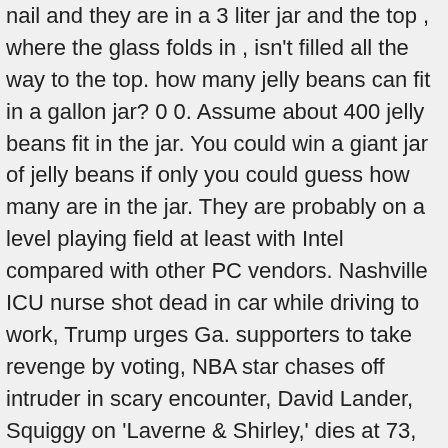nail and they are in a 3 liter jar and the top , where the glass folds in , isn't filled all the way to the top. how many jelly beans can fit in a gallon jar? 0 0. Assume about 400 jelly beans fit in the jar. You could win a giant jar of jelly beans if only you could guess how many are in the jar. They are probably on a level playing field at least with Intel compared with other PC vendors. Nashville ICU nurse shot dead in car while driving to work, Trump urges Ga. supporters to take revenge by voting, NBA star chases off intruder in scary encounter, David Lander, Squiggy on 'Laverne & Shirley,' dies at 73, Capitalism 'will collapse on itself' without empathy and love, Children's museum sparks backlash for new PB&J cafe. Relevance. When did Elizabeth Berkley get a gap between her front teeth? I love guessing games in the comment section below feel free to guess how many jellybeans are in this jar. What are the disadvantages of primary group? u dont u guess i guess no only kiddin u timez the amount u thinks in dere by the weight?????? (full jar-empty jar)/weight of 1 JB=Number of JBs in